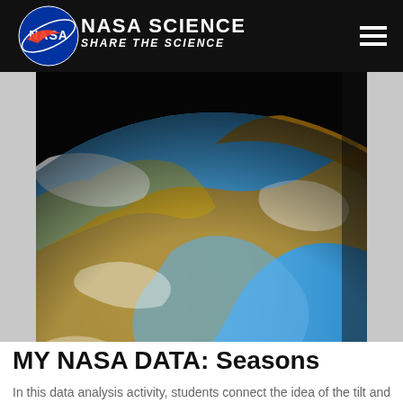NASA SCIENCE SHARE THE SCIENCE
[Figure (photo): False-color satellite image of Earth showing ocean chlorophyll or temperature data, featuring blues, whites, and oranges/browns against a dark background, viewed from space at an angle showing the curvature of the Earth.]
MY NASA DATA: Seasons
In this data analysis activity, students connect the idea of the tilt and orbit of the earth